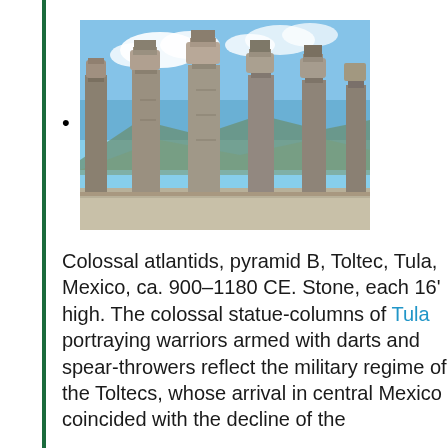[Figure (photo): Photograph of colossal atlantid stone columns at Pyramid B, Tula, Mexico, standing against a blue sky with mountains in the background]
Colossal atlantids, pyramid B, Toltec, Tula, Mexico, ca. 900–1180 CE. Stone, each 16' high. The colossal statue-columns of Tula portraying warriors armed with darts and spear-throwers reflect the military regime of the Toltecs, whose arrival in central Mexico coincided with the decline of the